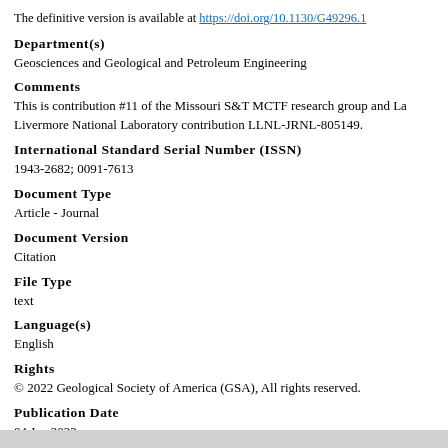The definitive version is available at https://doi.org/10.1130/G49296.1
Department(s)
Geosciences and Geological and Petroleum Engineering
Comments
This is contribution #11 of the Missouri S&T MCTF research group and La Livermore National Laboratory contribution LLNL-JRNL-805149.
International Standard Serial Number (ISSN)
1943-2682; 0091-7613
Document Type
Article - Journal
Document Version
Citation
File Type
text
Language(s)
English
Rights
© 2022 Geological Society of America (GSA), All rights reserved.
Publication Date
04 Jan 2022